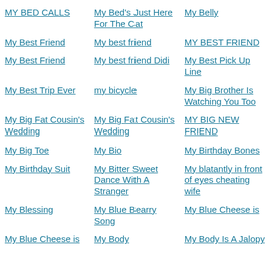MY BED CALLS
My Bed's Just Here For The Cat
My Belly
My Best Friend
My best friend
MY BEST FRIEND
My Best Friend
My best friend Didi
My Best Pick Up Line
My Best Trip Ever
my bicycle
My Big Brother Is Watching You Too
My Big Fat Cousin's Wedding
My Big Fat Cousin's Wedding
MY BIG NEW FRIEND
My Big Toe
My Bio
My Birthday Bones
My Birthday Suit
My Bitter Sweet Dance With A Stranger
My blatantly in front of eyes cheating wife
My Blessing
My Blue Bearry Song
My Blue Cheese is
My Blue Cheese is
My Body
My Body Is A Jalopy